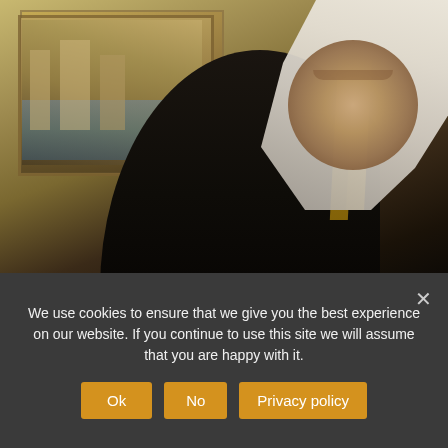[Figure (photo): Saudi Arabian Prince Turki Al-Faisal smiling, wearing traditional white Arab headdress with gold trim and dark formal attire, with a painted landscape in the background]
Turki Al-Faisal mars Biden visit by describing 'much diminished'
2 months ago
Saudi Arabian Prince Turki Al-Faisal, the kingdom's former intelligence chi…
We use cookies to ensure that we give you the best experience on our website. If you continue to use this site we will assume that you are happy with it.